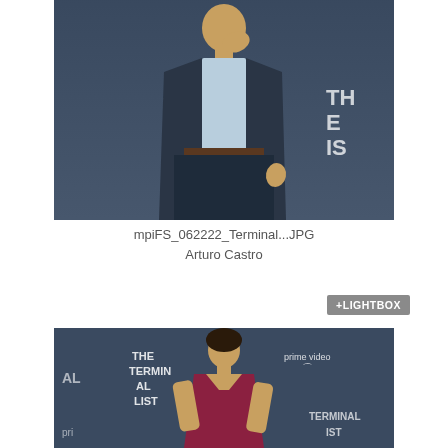[Figure (photo): Man in navy suit standing at a red carpet event for 'The Terminal List', hand raised to chin, in front of dark blue branded backdrop]
mpiFS_062222_Terminal...JPG
Arturo Castro
[Figure (photo): Button labeled +LIGHTBOX in grey]
[Figure (photo): Woman in burgundy strapless dress standing at 'The Terminal List' Prime Video premiere event, with branded backdrop visible]